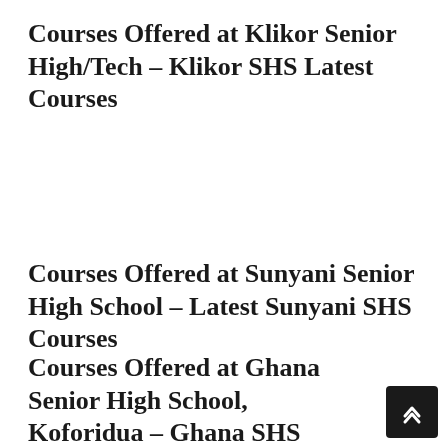Courses Offered at Klikor Senior High/Tech – Klikor SHS Latest Courses
Courses Offered at Sunyani Senior High School – Latest Sunyani SHS Courses
Courses Offered at Ghana Senior High School, Koforidua – Ghana SHS Latest Courses